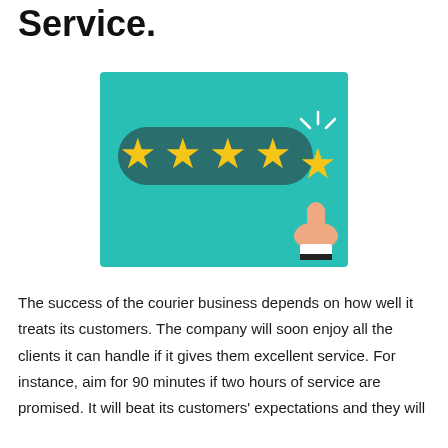Service.
[Figure (illustration): Illustration of a hand pointing to the fifth star in a five-star rating system on a teal background. Four gold stars are filled and the fifth star is being tapped by a finger, with sparkle lines above it.]
The success of the courier business depends on how well it treats its customers. The company will soon enjoy all the clients it can handle if it gives them excellent service. For instance, aim for 90 minutes if two hours of service are promised. It will beat its customers' expectations and they will